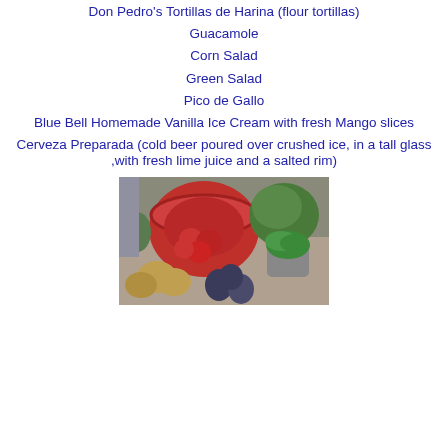Don Pedro's Tortillas de Harina (flour tortillas)
Guacamole
Corn Salad
Green Salad
Pico de Gallo
Blue Bell Homemade Vanilla Ice Cream with fresh Mango slices
Cerveza Preparada (cold beer poured over crushed ice, in a tall glass ,with fresh lime juice and a salted rim)
[Figure (photo): A colander and bowls filled with fresh vegetables including tomatoes, onions, avocados, lettuce, herbs, and other produce on a counter]